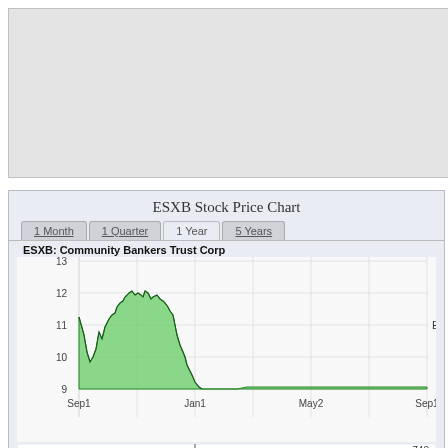[Figure (other): Gray placeholder box at top of page]
ESXB Stock Price Chart
1 Month | 1 Quarter | 1 Year | 5 Years
ESXB: Community Bankers Trust Corp
[Figure (area-chart): Area chart showing ESXB stock price from Sep1 to Sep1, with values ranging from 9 to 13. Green shaded area peaking around Jan1 at ~12.2, then dropping to ~9.5.]
[Figure (bar-chart): Volume bar chart at bottom, with label 743]